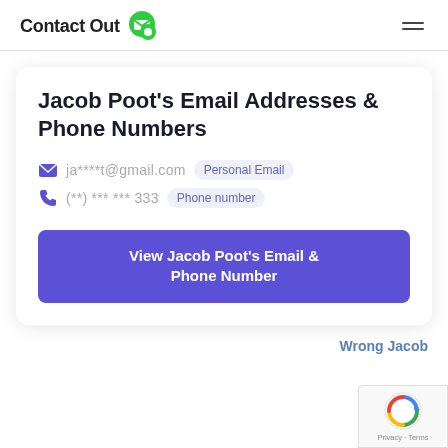ContactOut
Jacob Poot's Email Addresses & Phone Numbers
ja****t@gmail.com  Personal Email
(**) *** *** 333  Phone number
View Jacob Poot's Email & Phone Number
Wrong Jacob
[Figure (logo): reCAPTCHA badge with Google logo, Privacy and Terms links]